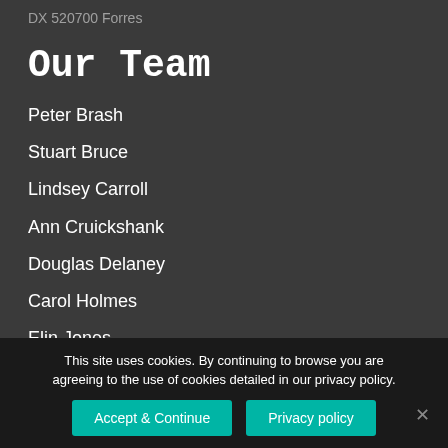DX 520700 Forres
Our Team
Peter Brash
Stuart Bruce
Lindsey Carroll
Ann Cruickshank
Douglas Delaney
Carol Holmes
Elin Jones
Katie Kennedy
This site uses cookies. By continuing to browse you are agreeing to the use of cookies detailed in our privacy policy.